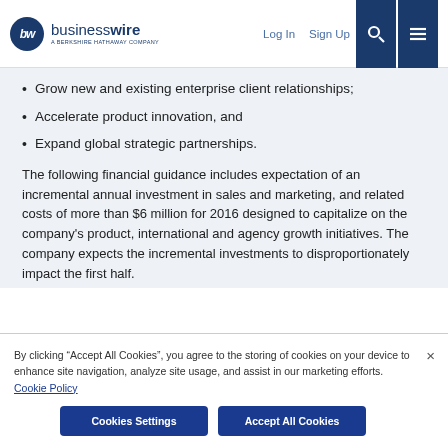businesswire — A BERKSHIRE HATHAWAY COMPANY | Log In | Sign Up
Grow new and existing enterprise client relationships;
Accelerate product innovation, and
Expand global strategic partnerships.
The following financial guidance includes expectation of an incremental annual investment in sales and marketing, and related costs of more than $6 million for 2016 designed to capitalize on the company's product, international and agency growth initiatives. The company expects the incremental investments to disproportionately impact the first half.
By clicking “Accept All Cookies”, you agree to the storing of cookies on your device to enhance site navigation, analyze site usage, and assist in our marketing efforts. Cookie Policy
Cookies Settings | Accept All Cookies